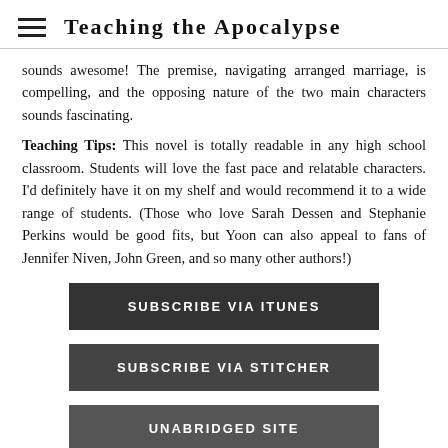Teaching the Apocalypse
sounds awesome! The premise, navigating arranged marriage, is compelling, and the opposing nature of the two main characters sounds fascinating.
Teaching Tips: This novel is totally readable in any high school classroom. Students will love the fast pace and relatable characters. I'd definitely have it on my shelf and would recommend it to a wide range of students. (Those who love Sarah Dessen and Stephanie Perkins would be good fits, but Yoon can also appeal to fans of Jennifer Niven, John Green, and so many other authors!)
SUBSCRIBE VIA ITUNES
SUBSCRIBE VIA STITCHER
UNABRIDGED SITE